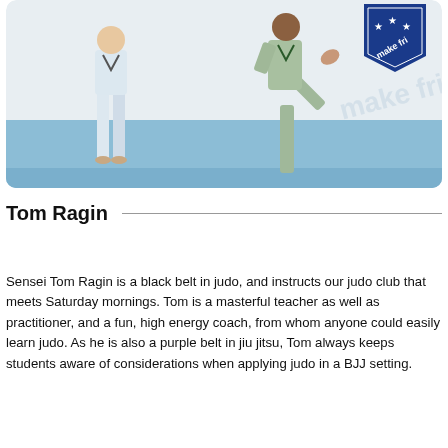[Figure (photo): Two people in martial arts uniforms (gi) practicing judo/martial arts on a blue mat inside a gym. One person is performing a high kick. A BJJ club logo/badge is visible in the upper right corner.]
Tom Ragin
Sensei Tom Ragin is a black belt in judo, and instructs our judo club that meets Saturday mornings. Tom is a masterful teacher as well as practitioner, and a fun, high energy coach, from whom anyone could easily learn judo. As he is also a purple belt in jiu jitsu, Tom always keeps students aware of considerations when applying judo in a BJJ setting.